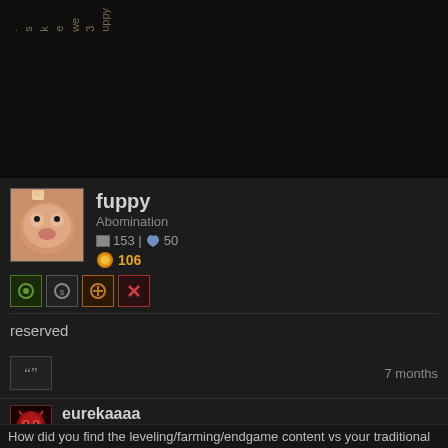uppy3weeks.
fuppy
Abomination
153 | 50
106
reserved
7 months
eurekaaaa
Void Archon
876 | 5
588
How did you find the leveling/farming/endgame content vs your traditional